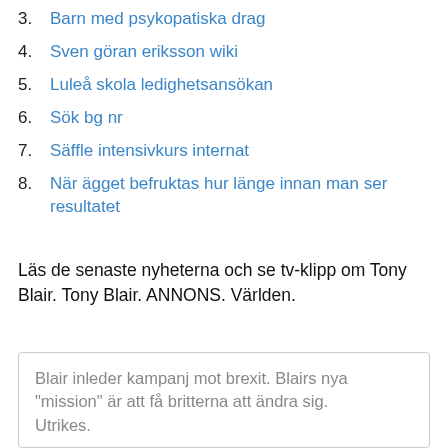3. Barn med psykopatiska drag
4. Sven göran eriksson wiki
5. Luleå skola ledighetsansökan
6. Sök bg nr
7. Säffle intensivkurs internat
8. När ägget befruktas hur länge innan man ser resultatet
Läs de senaste nyheterna och se tv-klipp om Tony Blair. Tony Blair. ANNONS. Världen.
Blair inleder kampanj mot brexit. Blairs nya "mission" är att få britterna att ändra sig. Utrikes.